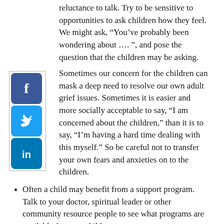reluctance to talk. Try to be sensitive to opportunities to ask children how they feel. We might ask, “You’ve probably been wondering about …. ”, and pose the question that the children may be asking.
[Figure (illustration): Social media icons: Facebook (blue f), Twitter (blue bird), LinkedIn (blue in) arranged vertically in a bordered sidebar]
Sometimes our concern for the children can mask a deep need to resolve our own adult grief issues. Sometimes it is easier and more socially acceptable to say, “I am concerned about the children,” than it is to say, “I’m having a hard time dealing with this myself.” So be careful not to transfer your own fears and anxieties on to the children.
Often a child may benefit from a support program. Talk to your doctor, spiritual leader or other community resource people to see what programs are available for your children.
Above all, let the child know that these feelings of grief are natural and a necessary part of the